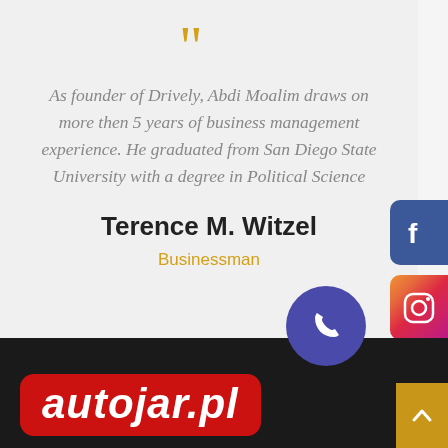[Figure (illustration): Large golden opening double quotation mark decorative icon]
As founder of Drively, Abdi Moalim draws on more then 5 years of business management experience. He graduated from San Diego State University with a degree in Political Science
Terence M. Witzel
Businessman
[Figure (logo): autojar.pl logo in white italic bold text on red rounded rectangle background, in black footer bar]
[Figure (illustration): Facebook icon button - blue rounded rectangle on right edge]
[Figure (illustration): Instagram icon button - gradient rounded rectangle on right edge]
[Figure (illustration): Phone icon in blue/purple circle overlapping footer]
[Figure (illustration): Gold scroll-to-top chevron button bottom right corner]